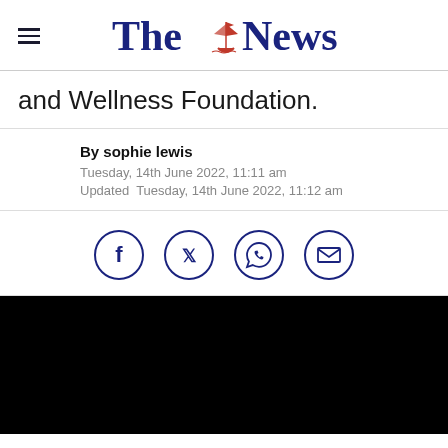The News
and Wellness Foundation.
By sophie lewis
Tuesday, 14th June 2022, 11:11 am
Updated  Tuesday, 14th June 2022, 11:12 am
[Figure (infographic): Social sharing icons: Facebook, Twitter, WhatsApp, Email — all in dark navy blue circle outlines]
[Figure (photo): Black image block (photo content obscured/black)]